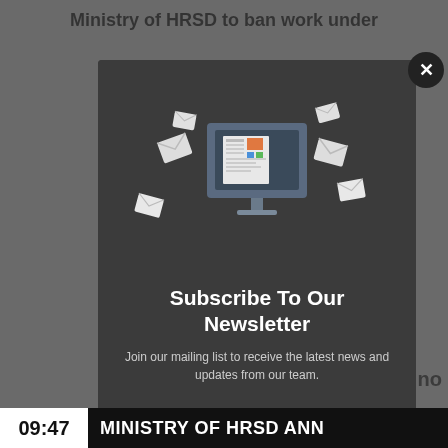Ministry of HRSD to ban work under
[Figure (screenshot): Newsletter subscription modal popup with illustration of a computer monitor displaying a newspaper surrounded by floating envelopes, on a dark background. Contains subscribe form with email input and subscribe button.]
Subscribe To Our Newsletter
Join our mailing list to receive the latest news and updates from our team.
Email
09:47   MINISTRY OF HRSD ANN